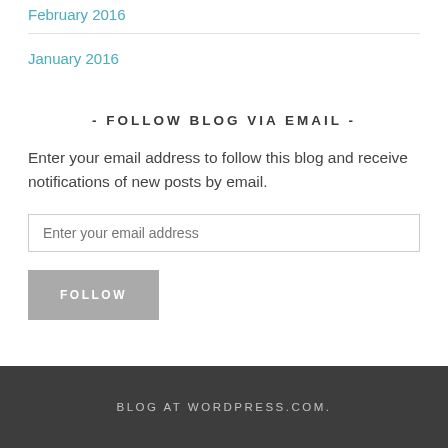February 2016
January 2016
- FOLLOW BLOG VIA EMAIL -
Enter your email address to follow this blog and receive notifications of new posts by email.
BLOG AT WORDPRESS.COM.